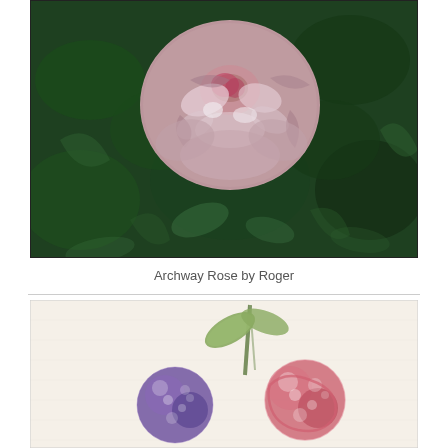[Figure (photo): Painting of a pink rose against a dark green leafy background, titled 'Archway Rose by Roger']
Archway Rose by Roger
[Figure (photo): Watercolor painting of cherries with green leaves on a light background, showing purple and red/pink cherry shapes]